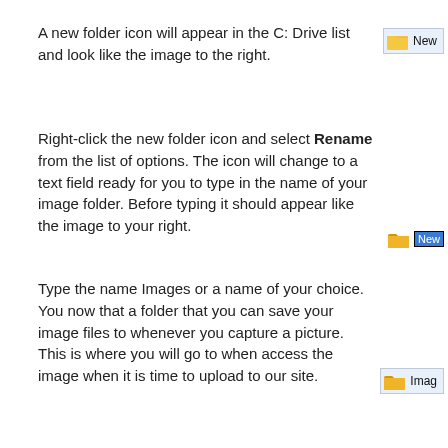A new folder icon will appear in the C: Drive list and look like the image to the right.
[Figure (screenshot): Windows folder icon labeled 'New' shown in C: Drive list]
Right-click the new folder icon and select Rename from the list of options. The icon will change to a text field ready for you to type in the name of your image folder. Before typing it should appear like the image to your right.
[Figure (screenshot): Windows folder icon with rename text field active, showing 'New' highlighted in blue]
Type the name Images or a name of your choice. You now that a folder that you can save your image files to whenever you capture a picture.  This is where you will go to when access the image when it is time to upload to our site.
[Figure (screenshot): Windows folder icon labeled 'Imag' (Images folder) shown in file explorer]